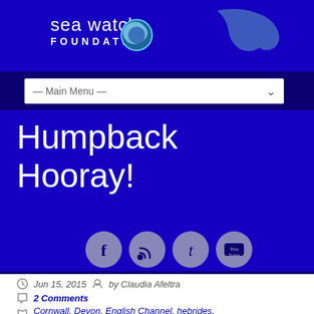[Figure (logo): Sea Watch Foundation logo with globe/dolphin icon and whale silhouette on blue background]
— Main Menu —
Humpback Hooray!
[Figure (infographic): Social media icon row: Facebook, RSS, Twitter, YouTube — circular grey buttons on blue background]
Jun 15, 2015   by Claudia Afeltra
2 Comments
Cornwall, Devon, English Channel, hebrides, humpback whale, Lizard, Norfolk,